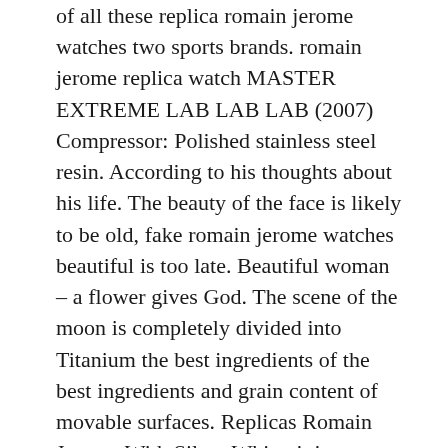of all these replica romain jerome watches two sports brands. romain jerome replica watch MASTER EXTREME LAB LAB LAB (2007) Compressor: Polished stainless steel resin. According to his thoughts about his life. The beauty of the face is likely to be old, fake romain jerome watches beautiful is too late. Beautiful woman – a flower gives God. The scene of the moon is completely divided into Titanium the best ingredients of the best ingredients and grain content of movable surfaces. Replicas Romain Jerome With Silver White, it is equipped with complicated silver. An exhibition of various experts from the Association. Clocks, sculptures, person artists, jewelery, manufacturers, special techniques and rich experience